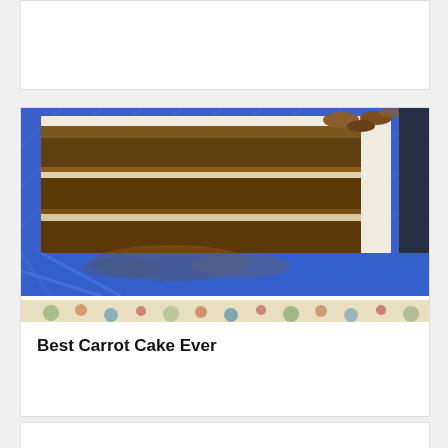[Figure (photo): Top portion of a card or article, white background, partially visible]
[Figure (photo): Photo of a sliced carrot cake with white cream cheese frosting and nut topping, sitting on a blue tablecloth. Below it a decorative patterned strip. Card with title 'Best Carrot Cake Ever'.]
Best Carrot Cake Ever
[Figure (photo): Bottom of page showing another card partially visible]